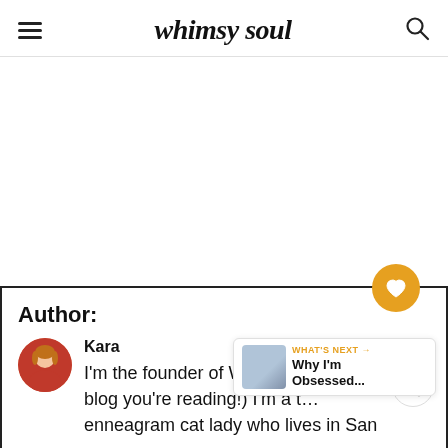whimsy soul
Author:
Kara
I'm the founder of Whimsy Soul (this blog you're reading!) I'm a t... enneagram cat lady who lives in San